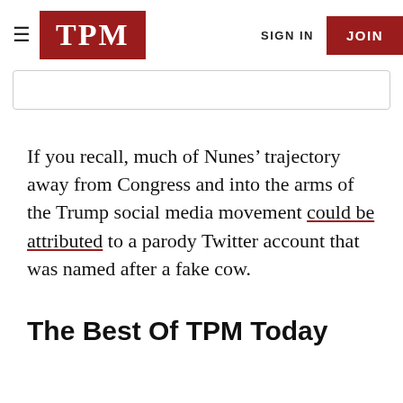≡ TPM   SIGN IN   JOIN
If you recall, much of Nunes' trajectory away from Congress and into the arms of the Trump social media movement could be attributed to a parody Twitter account that was named after a fake cow.
The Best Of TPM Today